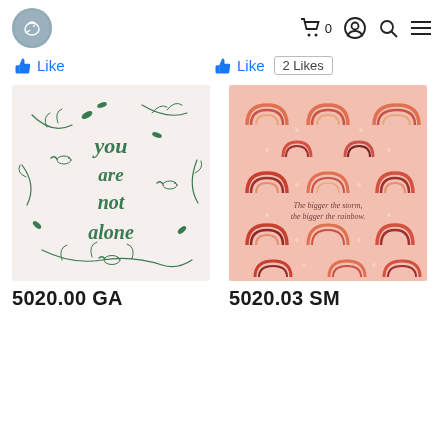Navigation bar with logo and icons (cart 0, user, search, menu)
Like
Like  2 Likes
[Figure (illustration): Hand-drawn style greeting card with green birds and botanical branches, text reading 'you are not alone']
[Figure (illustration): Pink background card with multiple illustrated rainbow arches in various colors and sizes, text: 'The bigger the storm, the bigger the rainbow.']
5020.00 GA
5020.03 SM